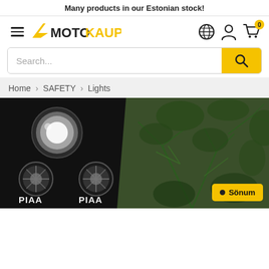Many products in our Estonian stock!
[Figure (logo): Motokaup logo with hamburger menu and navigation icons (globe, account, cart with 0 badge)]
Search...
Home > SAFETY > Lights
[Figure (photo): Split image: left side shows PIAA headlights/spotlights mounted on a vehicle bracket against a dark background; right side shows green forest/fern vegetation. A yellow 'Sönum' chat button is overlaid in the bottom right corner.]